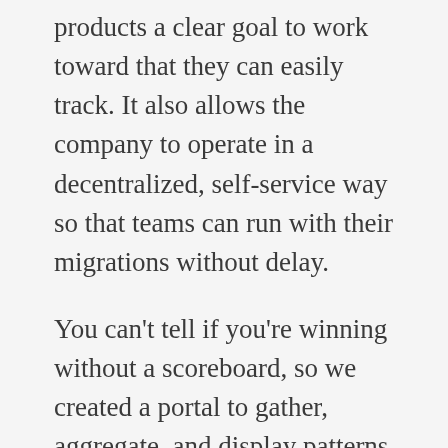products a clear goal to work toward that they can easily track. It also allows the company to operate in a decentralized, self-service way so that teams can run with their migrations without delay.
You can't tell if you're winning without a scoreboard, so we created a portal to gather, aggregate, and display patterns from the data assembled and made it visible to everyone in the company. Strategically, Tech Maturity provides a key indicator of our performance so that we can continually make value-driven improvements.